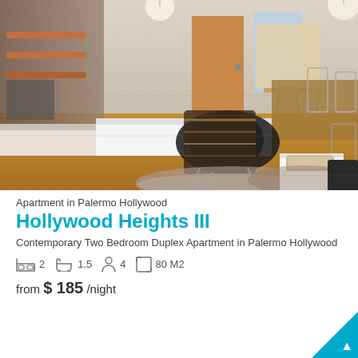[Figure (photo): Interior photo of a contemporary duplex apartment showing a living area with hardwood floors, a modern black lounge chair with a patterned blanket, a fur rug, dining table with wire chairs, kitchen with bar stools in the background, and pendant lighting.]
Apartment in Palermo Hollywood
Hollywood Heights III
Contemporary Two Bedroom Duplex Apartment in Palermo Hollywood
2  1.5  4  80 M2
from $ 185 /night